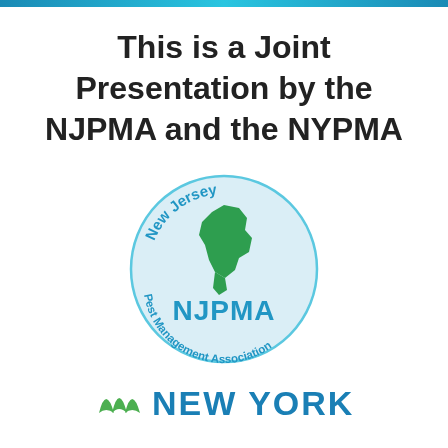This is a Joint Presentation by the NJPMA and the NYPMA
[Figure (logo): NJPMA New Jersey Pest Management Association circular logo with green NJ state map silhouette and blue text]
[Figure (logo): New York Pest Management Association logo with green leaf/striped icon and blue NEW YORK text]